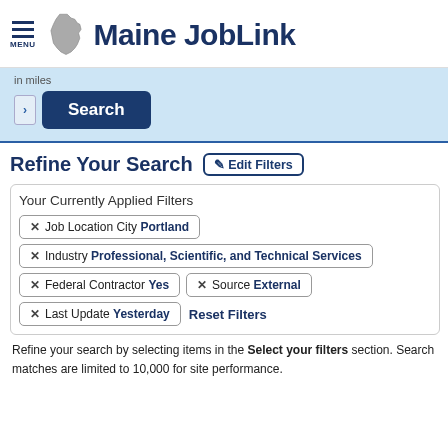Maine JobLink
in miles
Search
Refine Your Search  Edit Filters
Your Currently Applied Filters
✕ Job Location City Portland
✕ Industry Professional, Scientific, and Technical Services
✕ Federal Contractor Yes
✕ Source External
✕ Last Update Yesterday
Reset Filters
Refine your search by selecting items in the Select your filters section. Search matches are limited to 10,000 for site performance.